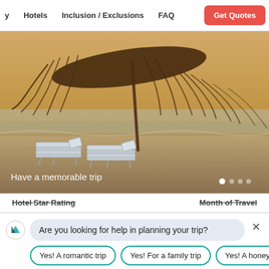Hotels | Inclusion / Exclusions | FAQ | Get Quotes
[Figure (photo): Beach scene with thatched umbrella and two lounge chairs on sandy beach at sunset, with ocean in background. Text overlay: 'Have a memorable trip'. Carousel dots bottom right.]
Hotel Star Rating   Month of Travel
Are you looking for help in planning your trip?
Yes! A romantic trip
Yes! For a family trip
Yes! A honey
Type or select from above...
SEND